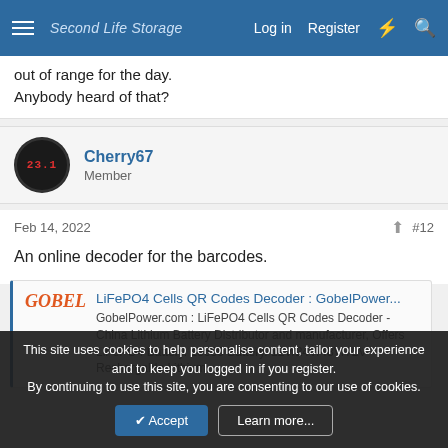Second Life Storage — Log in   Register
out of range for the day. Anybody heard of that?
Cherry67
Member
Feb 14, 2022   #12
An online decoder for the barcodes.
LiFePO4 Cells QR Codes Decoder : GobelPower...
GobelPower.com : LiFePO4 Cells QR Codes Decoder - China Lithium Battery Distributor and manufacturer, Offers LiFePO4 Battery. 18650 Battery. 12V/24V/48V/72V Rechargable Lithium
This site uses cookies to help personalise content, tailor your experience and to keep you logged in if you register.
By continuing to use this site, you are consenting to our use of cookies.
Accept   Learn more...